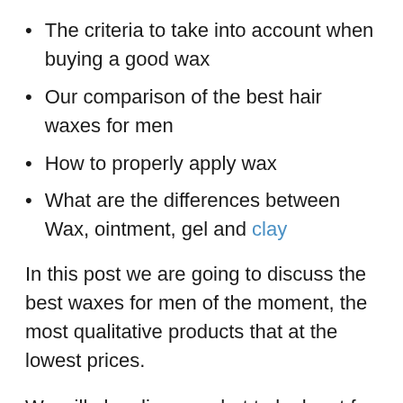The criteria to take into account when buying a good wax
Our comparison of the best hair waxes for men
How to properly apply wax
What are the differences between Wax, ointment, gel and clay
In this post we are going to discuss the best waxes for men of the moment, the most qualitative products that at the lowest prices.
We will also discuss what to look out for before buying hair wax, how to apply this product versus other styling products like pomade, gel, and clay. First of all, discover our expert advice on beards and moustaches, choose an effective and quality